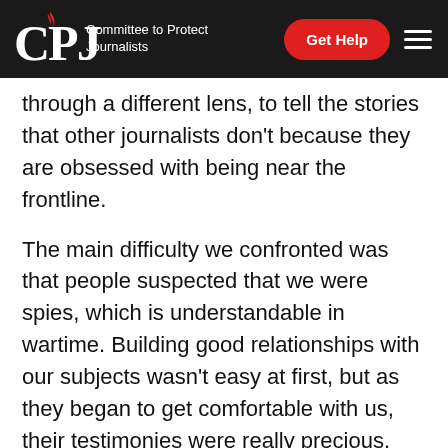CPJ — Committee to Protect Journalists | Get Help
through a different lens, to tell the stories that other journalists don't because they are obsessed with being near the frontline.
The main difficulty we confronted was that people suspected that we were spies, which is understandable in wartime. Building good relationships with our subjects wasn't easy at first, but as they began to get comfortable with us, their testimonies were really precious. We also faced problems accessing certain areas from [Ukrainian] police, but once they saw our press cards, our passports, and our mission letters [from the news